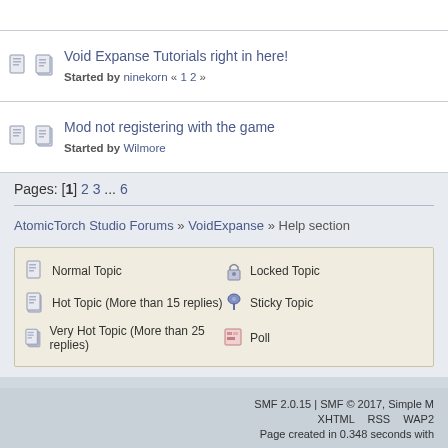Void Expanse Tutorials right in here! Started by ninekorn « 1 2 »
Mod not registering with the game Started by Wilmore
Pages: [1] 2 3 ... 6
AtomicTorch Studio Forums » VoidExpanse » Help section
Normal Topic | Hot Topic (More than 15 replies) | Very Hot Topic (More than 25 replies) | Locked Topic | Sticky Topic | Poll
SMF 2.0.15 | SMF © 2017, Simple M XHTML RSS WAP2 Page created in 0.348 seconds with